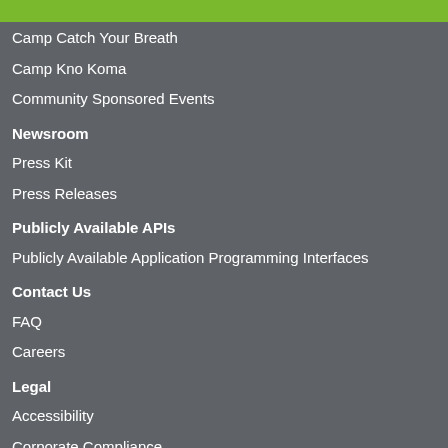Camp Catch Your Breath
Camp Kno Koma
Community Sponsored Events
Newsroom
Press Kit
Press Releases
Publicly Available APIs
Publicly Available Application Programming Interfaces
Contact Us
FAQ
Careers
Legal
Accessibility
Corporate Compliance